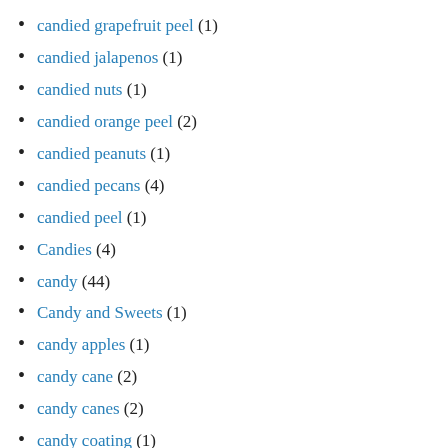candied grapefruit peel (1)
candied jalapenos (1)
candied nuts (1)
candied orange peel (2)
candied peanuts (1)
candied pecans (4)
candied peel (1)
Candies (4)
candy (44)
Candy and Sweets (1)
candy apples (1)
candy cane (2)
candy canes (2)
candy coating (1)
Candy Corn (1)
Candy Making (2)